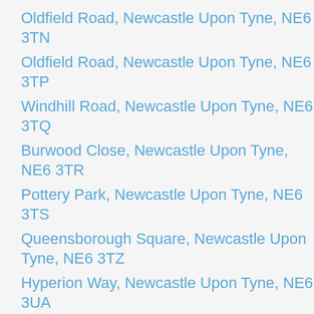Oldfield Road, Newcastle Upon Tyne, NE6 3TN
Oldfield Road, Newcastle Upon Tyne, NE6 3TP
Windhill Road, Newcastle Upon Tyne, NE6 3TQ
Burwood Close, Newcastle Upon Tyne, NE6 3TR
Pottery Park, Newcastle Upon Tyne, NE6 3TS
Queensborough Square, Newcastle Upon Tyne, NE6 3TZ
Hyperion Way, Newcastle Upon Tyne, NE6 3UA
Anson Walk, Newcastle Upon Tyne, NE6 3UB
Andromeda Court, Newcastle Upon Tyne, NE6 3UD
Cicero Court, Newcastle Upon Tyne, NE6 3UE
Lysander Drive, Newcastle Upon Tyne, NE6 3UF
Malaya Drive, Newcastle Upon Tyne, NE6 3UG
Walker Road, Newcastle Upon Tyne, NE6 3UH
Newcastle Upon Tyne, NE6 3UJ (No Longer In Use)
Walker Road, Newcastle Upon Tyne, NE6 3UL